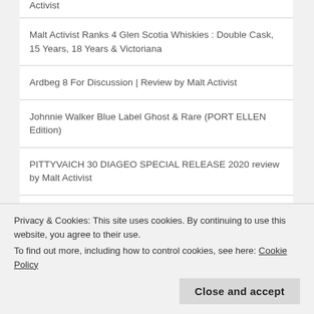Activist
Malt Activist Ranks 4 Glen Scotia Whiskies : Double Cask, 15 Years, 18 Years & Victoriana
Ardbeg 8 For Discussion | Review by Malt Activist
Johnnie Walker Blue Label Ghost & Rare (PORT ELLEN Edition)
PITTYVAICH 30 DIAGEO SPECIAL RELEASE 2020 review by Malt Activist
MORTLACH 21 DIAGEO SPECIAL RELEASE 2020 review by Malt Activist
Privacy & Cookies: This site uses cookies. By continuing to use this website, you agree to their use.
To find out more, including how to control cookies, see here: Cookie Policy
Close and accept
Malt Activist